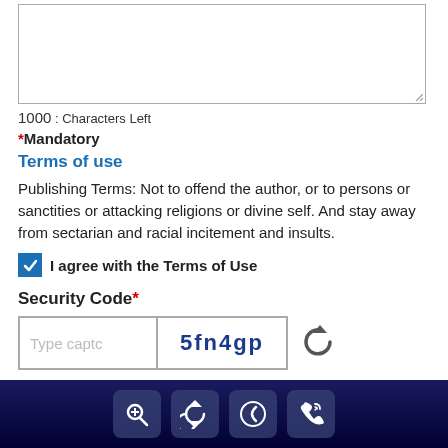[Figure (screenshot): Textarea input box (empty, resizable)]
1000 : Characters Left
*Mandatory
Terms of use
Publishing Terms: Not to offend the author, or to persons or sanctities or attacking religions or divine self. And stay away from sectarian and racial incitement and insults.
I agree with the Terms of Use
Security Code*
[Figure (screenshot): CAPTCHA input field showing 'Type captc' placeholder and CAPTCHA image showing '5fn4gp' with refresh icon]
[Figure (screenshot): Send Comment button (red rounded rectangle)]
Footer navigation bar with search, refresh, back, and phone icons